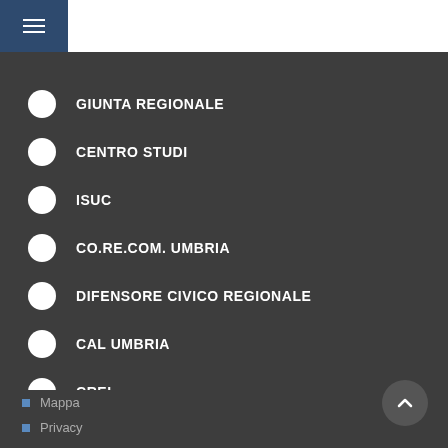GIUNTA REGIONALE
CENTRO STUDI
ISUC
CO.RE.COM. UMBRIA
DIFENSORE CIVICO REGIONALE
CAL UMBRIA
CREL
LINK ISTITUZIONALI
Mappa
Privacy